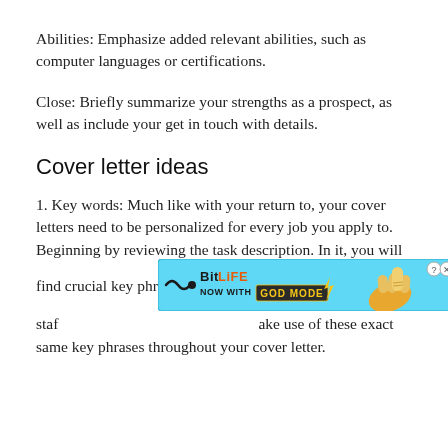Abilities: Emphasize added relevant abilities, such as computer languages or certifications.
Close: Briefly summarize your strengths as a prospect, as well as include your get in touch with details.
Cover letter ideas
1. Key words: Much like with your return to, your cover letters need to be personalized for every job you apply to. Beginning by reviewing the task description. In it, you will find crucial key phrases [ad overlay] of staffing [ad overlay] ake use of these exact same key phrases throughout your cover letter.
[Figure (screenshot): BitLife mobile game advertisement banner with 'NOW WITH GOD MODE' text, yellow hand illustration, and close button]